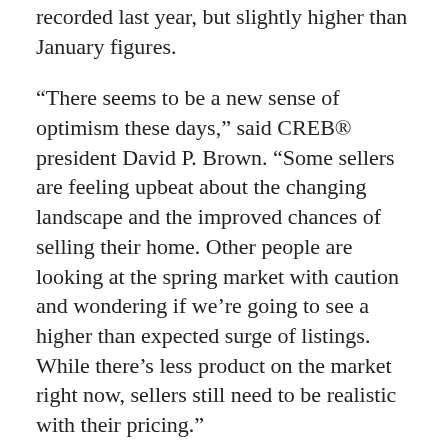recorded last year, but slightly higher than January figures.
“There seems to be a new sense of optimism these days,” said CREB® president David P. Brown. “Some sellers are feeling upbeat about the changing landscape and the improved chances of selling their home. Other people are looking at the spring market with caution and wondering if we’re going to see a higher than expected surge of listings. While there’s less product on the market right now, sellers still need to be realistic with their pricing.”
The amount of excess inventory eased in the overall market in February, setting the stage for a transition to a more stable market this year. Months of supply totaled 3.4 months, down from five months over last February. At the same time, the sales-to-new-listings ratio trended from a near record February low of 29